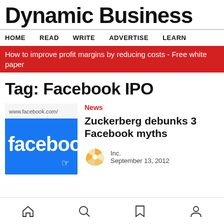Dynamic Business
HOME  READ  WRITE  ADVERTISE  LEARN
How to improve profit margins by reducing costs - Free white paper
Tag: Facebook IPO
[Figure (photo): Facebook website thumbnail showing facebook.com URL and the Facebook logo button being clicked]
News
Zuckerberg debunks 3 Facebook myths
[Figure (logo): Inc. magazine golden pinwheel/sunflower logo avatar]
Inc.
September 13, 2012